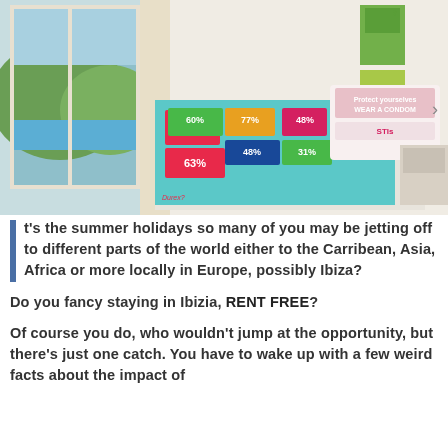[Figure (photo): A bright bedroom with a white bed covered in a colorful health awareness bedspread featuring STI statistics and percentages in pink, green, blue, and orange. The pillow reads 'Protect yourselves WEAR A CONDOM' and 'STIs'. The room has a balcony with sea and green hill views, curtains, and health-related posters on the wall.]
It's the summer holidays so many of you may be jetting off to different parts of the world either to the Carribean, Asia, Africa or more locally in Europe, possibly Ibiza?
Do you fancy staying in Ibizia, RENT FREE?
Of course you do, who wouldn't jump at the opportunity, but there's just one catch. You have to wake up with a few weird facts about the impact of